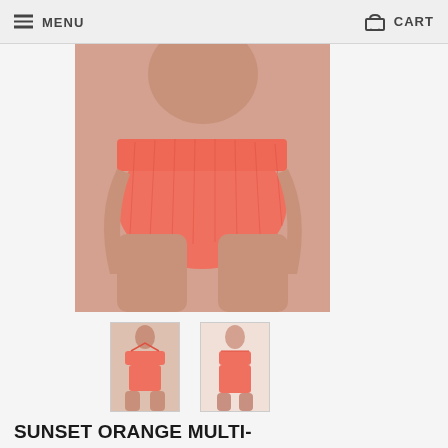MENU  CART
[Figure (photo): Main product photo showing coral/salmon colored bikini bottom on a model, cropped at waist and upper thigh area]
[Figure (photo): Thumbnail 1: Full model wearing coral bikini top and bottom, front view]
[Figure (photo): Thumbnail 2: Full model wearing coral bikini, side/back view]
SUNSET ORANGE MULTI-STRINGS TRIANGLE TOP
0 (0 Reviews)